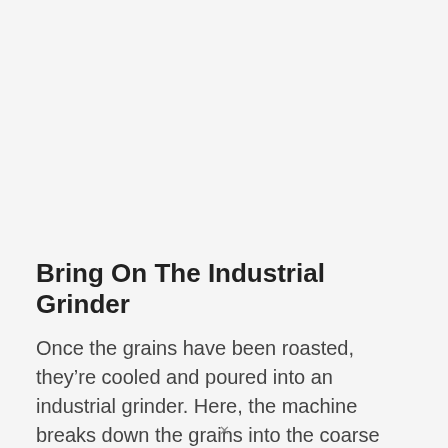Bring On The Industrial Grinder
Once the grains have been roasted, they're cooled and poured into an industrial grinder. Here, the machine breaks down the grains into the coarse ground and traps much of the aroma that would